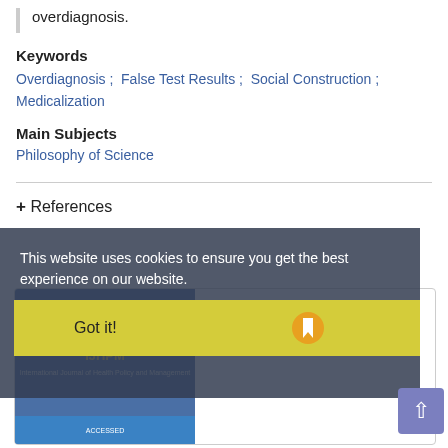overdiagnosis.
Keywords
Overdiagnosis ;  False Test Results ;  Social Construction ;  Medicalization
Main Subjects
Philosophy of Science
+ References
[Figure (other): Journal card showing volume 6 issue 10, October 2017, pages 609-610, with journal logo and blue bar]
This website uses cookies to ensure you get the best experience on our website.
Got it!